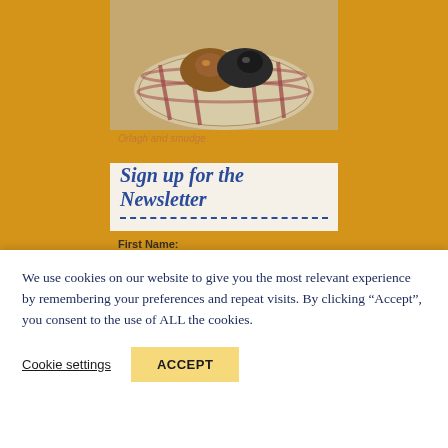[Figure (photo): Photo of two cats or small animals resting in a round plaid pet bed]
Orlagh and smudge
Sign up for the Newsletter
First Name:
Your first name
Email address:
We use cookies on our website to give you the most relevant experience by remembering your preferences and repeat visits. By clicking “Accept”, you consent to the use of ALL the cookies.
Cookie settings
ACCEPT